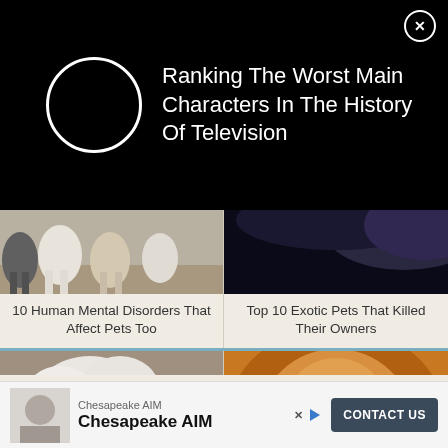[Figure (screenshot): Black banner ad with circle icon and text: Ranking The Worst Main Characters In The History Of Television, with X close button]
Ranking The Worst Main Characters In The History Of Television
[Figure (photo): Photo of cats/kittens from a lower angle showing legs and fur]
10 Human Mental Disorders That Affect Pets Too
[Figure (photo): Photo showing partial dark background with what appears to be the bottom of an animal]
Top 10 Exotic Pets That Killed Their Owners
[Figure (photo): Photo of a white fluffy dog looking downward]
[Figure (photo): Close-up photo of a lion's face looking directly at camera]
[Figure (screenshot): Bottom advertisement banner for Chesapeake AIM with CONTACT US button]